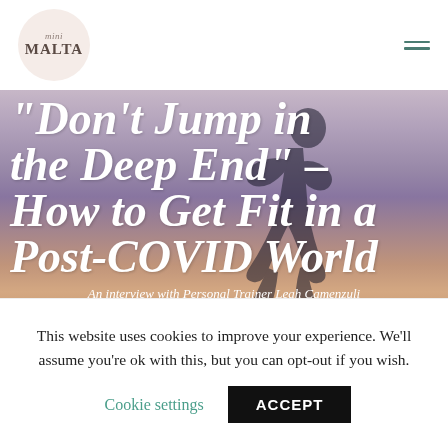mini MALTA
[Figure (photo): Hero image of a person running/exercising at sunset, used as background for article title. Warm sunset tones with silhouette.]
"Don't Jump in the Deep End" – How to Get Fit in a Post-COVID World
An interview with Personal Trainer Leah Camenzuli
This website uses cookies to improve your experience. We'll assume you're ok with this, but you can opt-out if you wish.
Cookie settings   ACCEPT